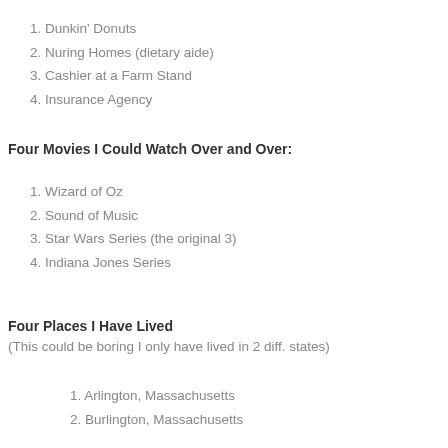1. Dunkin' Donuts
2. Nuring Homes (dietary aide)
3. Cashier at a Farm Stand
4. Insurance Agency
Four Movies I Could Watch Over and Over:
1. Wizard of Oz
2. Sound of Music
3. Star Wars Series (the original 3)
4. Indiana Jones Series
Four Places I Have Lived
(This could be boring I only have lived in 2 diff. states)
1. Arlington, Massachusetts
2. Burlington, Massachusetts